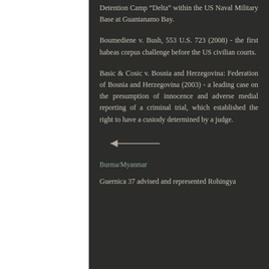Detention Camp “Delta” within the US Naval Military Base at Guantanamo Bay.
Boumediene v. Bush, 553 U.S. 723 (2008) - the first habeas corpus challenge before the US civilian courts.
Basic & Cosic v. Bosnia and Herzegovina: Federation of Bosnia and Herzegovina (2003) - a leading case on the presumption of innocence and adverse medial reporting of a criminal trial, which established the right to have a custody determined by a judge.
[Figure (other): Left-pointing arrow navigation element]
Burma/Myanmar
Guernica 37 advised and represented Rohingya